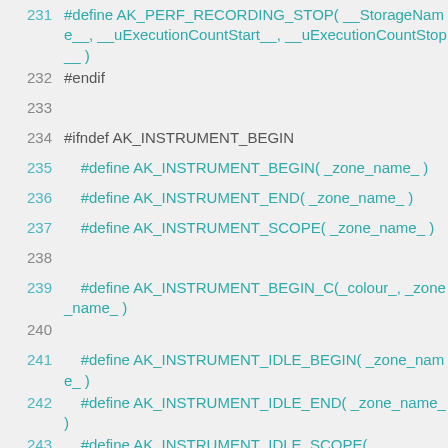231  #define AK_PERF_RECORDING_STOP( __StorageName__, __uExecutionCountStart__, __uExecutionCountStop__ )
232  #endif
233
234  #ifndef AK_INSTRUMENT_BEGIN
235      #define AK_INSTRUMENT_BEGIN( _zone_name_ )
236      #define AK_INSTRUMENT_END( _zone_name_ )
237      #define AK_INSTRUMENT_SCOPE( _zone_name_ )
238
239      #define AK_INSTRUMENT_BEGIN_C(_colour_, _zone_name_ )
240
241      #define AK_INSTRUMENT_IDLE_BEGIN( _zone_name_ )
242      #define AK_INSTRUMENT_IDLE_END( _zone_name_ )
243      #define AK_INSTRUMENT_IDLE_SCOPE( _